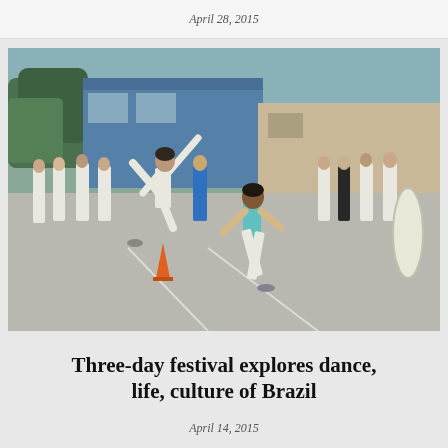April 28, 2015
[Figure (photo): Outdoor capoeira performance with two practitioners in the foreground doing martial arts/dance moves. One person is executing a high kick while another crouches. Both wear white pants. A group of spectators and musicians in white uniforms stand in a circle around them. A blue building and parking lot are visible in the background.]
Three-day festival explores dance, life, culture of Brazil
April 14, 2015